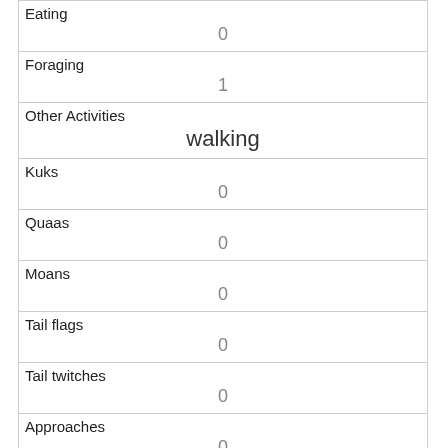| Eating | 0 |
| Foraging | 1 |
| Other Activities | walking |
| Kuks | 0 |
| Quaas | 0 |
| Moans | 0 |
| Tail flags | 0 |
| Tail twitches | 0 |
| Approaches | 0 |
| Indifferent | 0 |